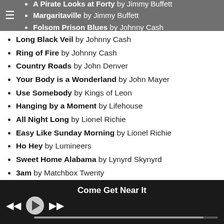A Pirate Looks at Forty by Jimmy Buffett
Margaritaville by Jimmy Buffett
Folsom Prison Blues by Johnny Cash
Long Black Veil by Johnny Cash
Ring of Fire by Johnny Cash
Country Roads by John Denver
Your Body is a Wonderland by John Mayer
Use Somebody by Kings of Leon
Hanging by a Moment by Lifehouse
All Night Long by Lionel Richie
Easy Like Sunday Morning by Lionel Richie
Ho Hey by Lumineers
Sweet Home Alabama by Lynyrd Skynyrd
3am by Matchbox Twenty
Down Under by Men At Work
Kids by MGMT
Sweet Caroline by Neil Diamond
Crazy Game of Poker by OAR
Hey Girl by OAR
Come Get Near It — now playing